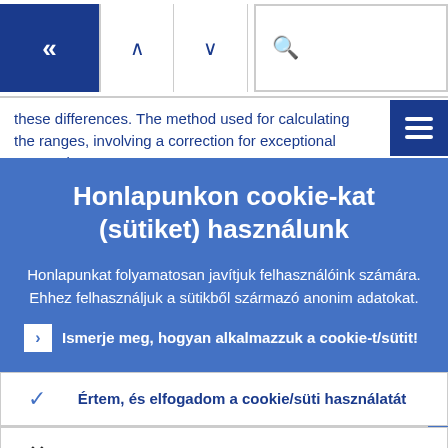[Figure (screenshot): Navigation bar with dark blue back button showing double chevron left, up and down arrow buttons, and a search bar with magnifying glass icon]
these differences. The method used for calculating the ranges, involving a correction for exceptional events, is
[Figure (other): Hamburger menu button (three horizontal lines) on dark blue background]
Honlapunkon cookie-kat (sütiket) használunk
Honlapunkat folyamatosan javítjuk felhasználóink számára. Ehhez felhasználjuk a sütikből származó anonim adatokat.
Ismerje meg, hogyan alkalmazzuk a cookie-t/sütit!
✓ Értem, és elfogadom a cookie/süti használatát
✕ Visszautasítom a cookie/süti használatát